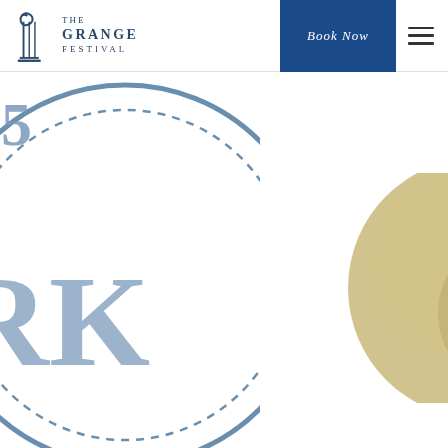The Grange Festival | Book Now | Menu
[Figure (logo): Left side: partial circular stamp/seal with dashed inner ring, showing letters 'RK' and '25' in blue-grey. Right side: partial golden/beige circle (possibly a medal or coin).]